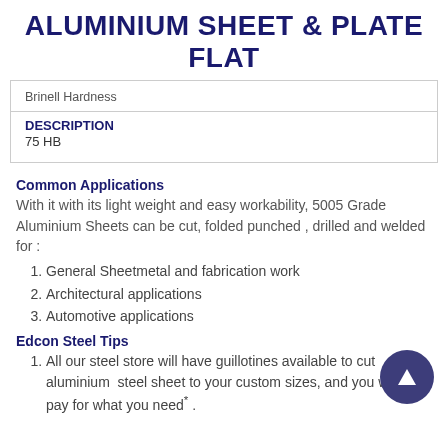ALUMINIUM SHEET & PLATE FLAT
| DESCRIPTION |
| --- |
| Brinell Hardness |
| 75 HB |
Common Applications
With it with its light weight and easy workability, 5005 Grade Aluminium Sheets can be cut, folded punched , drilled and welded for :
General Sheetmetal and fabrication work
Architectural applications
Automotive applications
Edcon Steel Tips
All our steel store will have guillotines available to cut aluminium  steel sheet to your custom sizes, and you will only pay for what you need* .